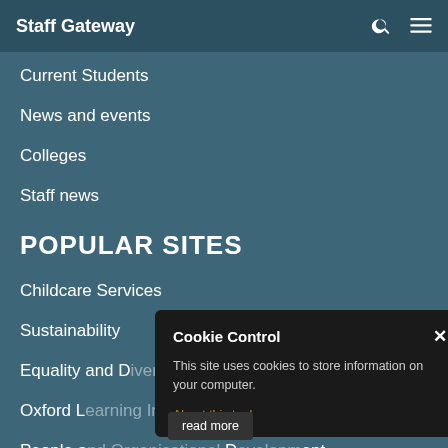Staff Gateway
Current Students
News and events
Colleges
Staff news
POPULAR SITES
Childcare Services
Sustainability
Equality and D…
Oxford …
People and Organisational … ment
Centre f… and Learning
[Figure (screenshot): Cookie Control modal dialog with close button, body text 'This site uses cookies to store information on your computer.', an 'About this tool' link, and a 'read more' button.]